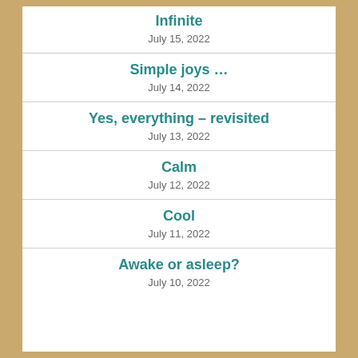Infinite
July 15, 2022
Simple joys …
July 14, 2022
Yes, everything – revisited
July 13, 2022
Calm
July 12, 2022
Cool
July 11, 2022
Awake or asleep?
July 10, 2022